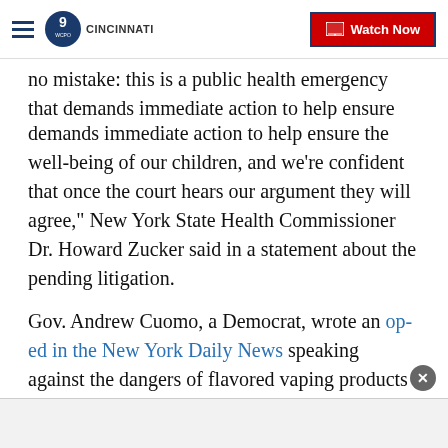WCPO Cincinnati | Watch Now
no mistake: this is a public health emergency that demands immediate action to help ensure the well-being of our children, and we're confident that once the court hears our argument they will agree," New York State Health Commissioner Dr. Howard Zucker said in a statement about the pending litigation.
Gov. Andrew Cuomo, a Democrat, wrote an op-ed in the New York Daily News speaking against the dangers of flavored vaping products among youth and recently signed legislation to raise the age to purchase tobacco and e-cigarette products from 18 to 21.